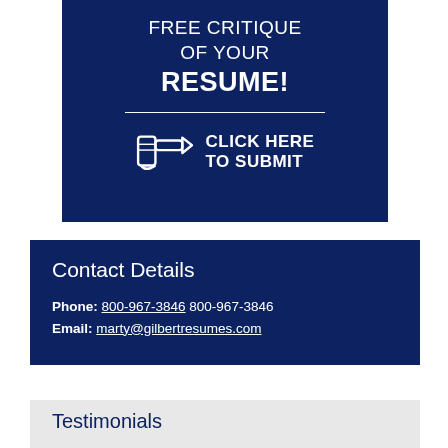[Figure (infographic): Dark navy blue banner with text 'FREE CRITIQUE OF YOUR RESUME!' with a horizontal white divider line and a pointing hand icon with text 'CLICK HERE TO SUBMIT']
Contact Details
Phone: 800-967-3846 800-967-3846
Email: marty@gilbertresumes.com
Testimonials